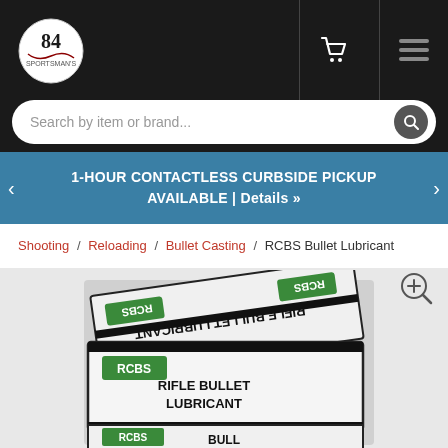[Figure (logo): Sportsman's 84 store logo - circular emblem with '84' text on white circle against dark header]
Search by item or brand...
1-HOUR CONTACTLESS CURBSIDE PICKUP AVAILABLE | Details »
Shooting / Reloading / Bullet Casting / RCBS Bullet Lubricant
[Figure (photo): RCBS Rifle Bullet Lubricant product boxes stacked, showing white boxes with green RCBS label and black text reading RIFLE BULLET LUBRICANT]